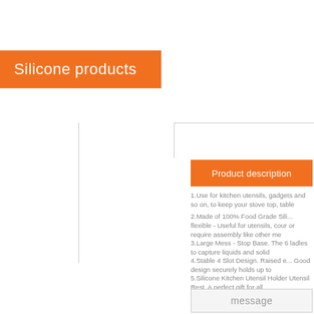Silicone products
Product description
1.Use for kitchen utensils, gadgets and so on, to keep your stove top, table
2.Made of 100% Food Grade Silicone - flexible - Useful for utensils, countertop or require assembly like other me
3.Large Mess - Stop Base. The 6 ladles to capture liquids and solid
4.Stable 4 Slot Design. Raised e... Good design securely holds up to
5.Silicone Kitchen Utensil Holder Utensil Rest. A perfect gift for all
message